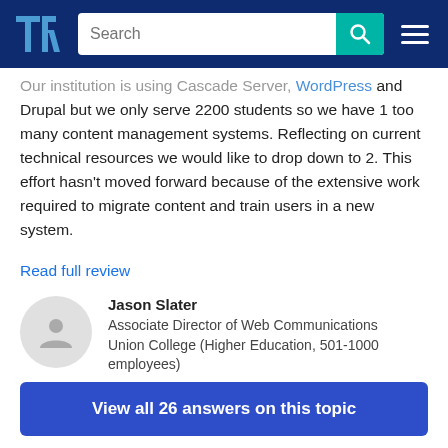[Figure (screenshot): TrustRadius website header with logo, search bar, and hamburger menu on dark blue background]
Our institution is using Cascade Server, WordPress and Drupal but we only serve 2200 students so we have 1 too many content management systems. Reflecting on current technical resources we would like to drop down to 2. This effort hasn't moved forward because of the extensive work required to migrate content and train users in a new system.
Read full review
Jason Slater
Associate Director of Web Communications
Union College (Higher Education, 501-1000 employees)
View all 26 answers on this topic